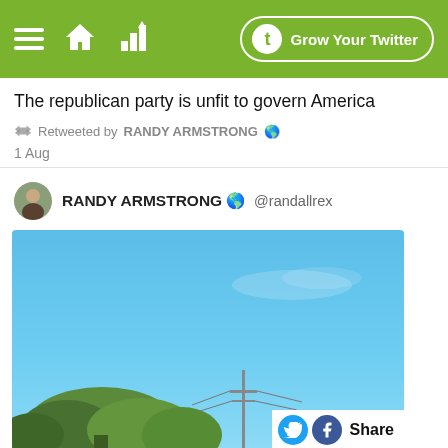Grow Your Twitter
The republican party is unfit to govern America
Retweeted by RANDY ARMSTRONG
1 Aug
RANDY ARMSTRONG  @randallrex
[Figure (photo): Outdoor photo showing blue sky with trees and utility poles/towers in the lower portion]